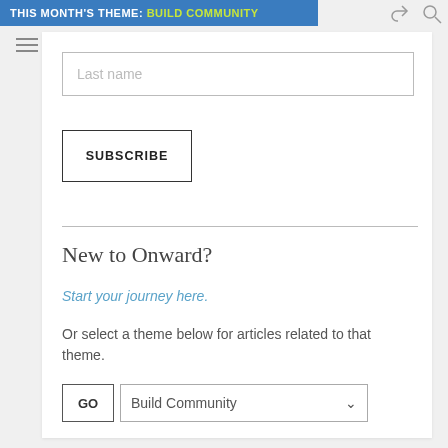THIS MONTH'S THEME: BUILD COMMUNITY
[Figure (screenshot): Last name input field (placeholder text)]
[Figure (screenshot): SUBSCRIBE button]
New to Onward?
Start your journey here.
Or select a theme below for articles related to that theme.
[Figure (screenshot): GO button and Build Community dropdown selector]